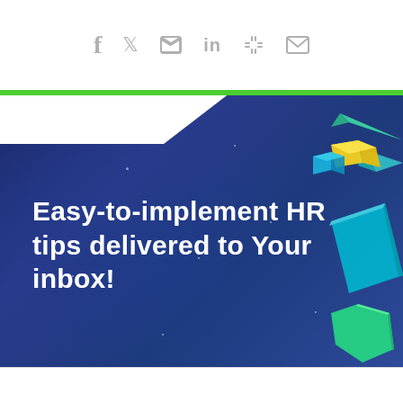f  twitter  in  slack  mail (social share icons)
[Figure (illustration): Dark blue gradient hero banner with decorative 3D geometric shapes (teal/cyan diamond, yellow-green cube, green crystal) in the upper-right and right side. White diagonal stripe near top. Background has faint star-like dots. Large white bold text reads: Easy-to-implement HR tips delivered to Your inbox!]
Easy-to-implement HR tips delivered to Your inbox!